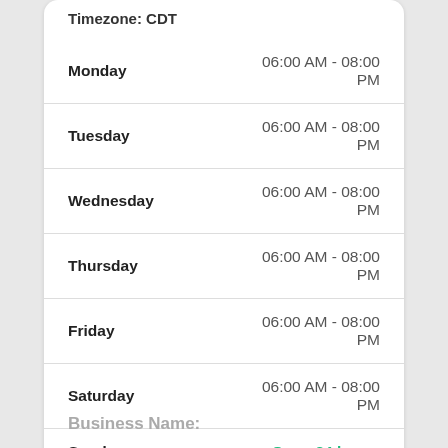Timezone: CDT
| Day | Hours |
| --- | --- |
| Monday | 06:00 AM - 08:00 PM |
| Tuesday | 06:00 AM - 08:00 PM |
| Wednesday | 06:00 AM - 08:00 PM |
| Thursday | 06:00 AM - 08:00 PM |
| Friday | 06:00 AM - 08:00 PM |
| Saturday | 06:00 AM - 08:00 PM |
| Sunday | Open 24 hours |
Business Name: